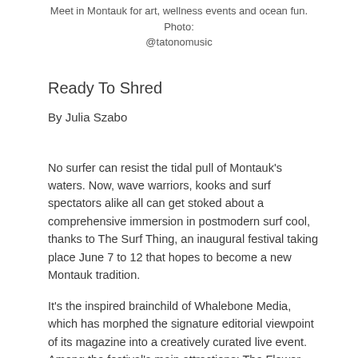Meet in Montauk for art, wellness events and ocean fun. Photo: @tatonomusic
Ready To Shred
By Julia Szabo
No surfer can resist the tidal pull of Montauk's waters. Now, wave warriors, kooks and surf spectators alike all can get stoked about a comprehensive immersion in postmodern surf cool, thanks to The Surf Thing, an inaugural festival taking place June 7 to 12 that hopes to become a new Montauk tradition.
It's the inspired brainchild of Whalebone Media, which has morphed the signature editorial viewpoint of its magazine into a creatively curated live event. Among the festival's main attractions: The Flower Shop will teleport to Montauk